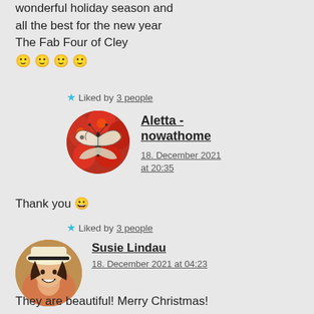wonderful holiday season and all the best for the new year
The Fab Four of Cley
🙂🙂🙂🙂
★ Liked by 3 people
[Figure (photo): Circular avatar photo of butterfly on red flowers (Aletta - nowathome)]
Aletta - nowathome
18. December 2021 at 20:35
Thank you 😀
★ Liked by 3 people
[Figure (photo): Circular avatar photo of woman in white hat (Susie Lindau)]
Susie Lindau
18. December 2021 at 04:23
They are beautiful! Merry Christmas!